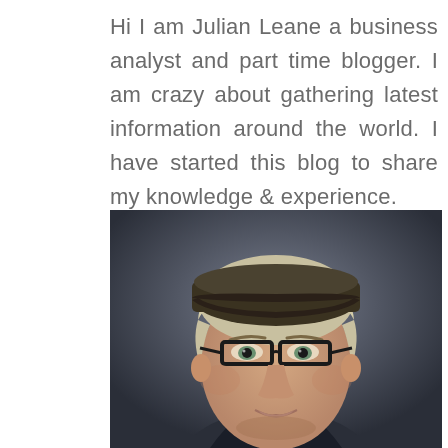Hi I am Julian Leane a business analyst and part time blogger. I am crazy about gathering latest information around the world. I have started this blog to share my knowledge & experience.
[Figure (photo): Portrait photo of a middle-aged man wearing a dark flat cap and black-rimmed glasses, with short blond/grey hair, looking directly at the camera against a dark blurred background.]